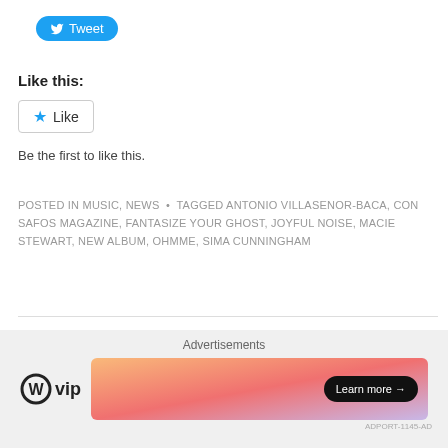[Figure (other): Twitter Tweet button (blue rounded pill button with bird icon and 'Tweet' text)]
Like this:
[Figure (other): WordPress Like button with blue star icon and 'Like' text]
Be the first to like this.
POSTED IN MUSIC, NEWS • TAGGED ANTONIO VILLASENOR-BACA, CON SAFOS MAGAZINE, FANTASIZE YOUR GHOST, JOYFUL NOISE, MACIE STEWART, NEW ALBUM, OHMME, SIMA CUNNINGHAM
PREV
Matt Karmil Shares New Single
[Figure (other): Advertisement banner: WordPress VIP logo on left, colorful gradient banner with 'Learn more →' button on right, 'Advertisements' label above]